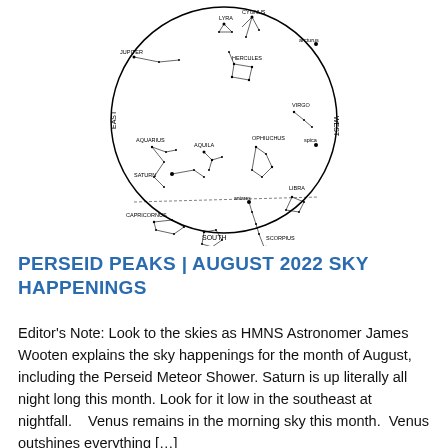[Figure (illustration): A circular star map showing the night sky for August 2022. The map is bordered by a circle with directional labels EAST on the left, WEST on the right, and SOUTH at the bottom. Constellations labeled include JUPITER, AQUARIUS, SATURN, CAPRICORNUS, SAGITTARIUS, CORONA AUSTRALIS, SCORPIUS, ANTARES, LIBRA, VIRGO, SPICA, OPHIUCHUS, AQUILA, HERCULES, LYRA, CYGNUS, and ARCTURUS. Stars and connecting lines are drawn throughout.]
PERSEID PEAKS | AUGUST 2022 SKY HAPPENINGS
Editor's Note: Look to the skies as HMNS Astronomer James Wooten explains the sky happenings for the month of August, including the Perseid Meteor Shower. Saturn is up literally all night long this month. Look for it low in the southeast at nightfall.   Venus remains in the morning sky this month.  Venus outshines everything […]